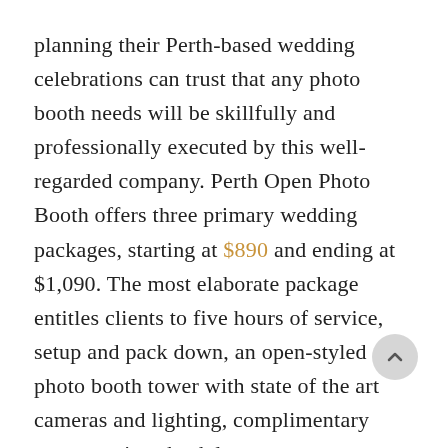planning their Perth-based wedding celebrations can trust that any photo booth needs will be skillfully and professionally executed by this well-regarded company. Perth Open Photo Booth offers three primary wedding packages, starting at $890 and ending at $1,090. The most elaborate package entitles clients to five hours of service, setup and pack down, an open-styled photo booth tower with state of the art cameras and lighting, complimentary props, various backdrops, custom designs, unlimited photos, an online gallery, and a team of attendants to ensure smooth delivery and execution of the day's events.
Add-on items to these three packages offered by Perth Open Photo Booth include admission tickets as a nifty accessory, duplicate prints, a photo album and a table